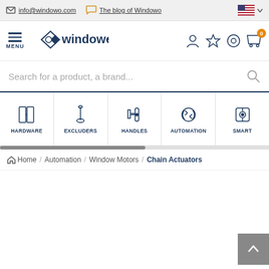info@windowo.com  The blog of Windowo
[Figure (logo): Windowo logo with diamond arrow and wordmark]
MENU
Search for a product, a brand...
HARDWARE
EXCLUDERS
HANDLES
AUTOMATION
SMART
Home / Automation / Window Motors / Chain Actuators